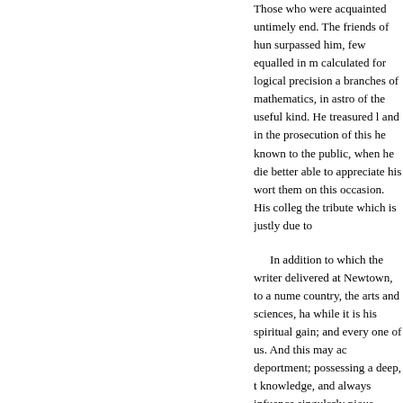Those who were acquainted untimely end. The friends of hun surpassed him, few equalled in m calculated for logical precision a branches of mathematics, in astro of the useful kind. He treasured l and in the prosecution of this he known to the public, when he die better able to appreciate his wort them on this occasion. His colleg the tribute which is justly due to
In addition to which the writer delivered at Newtown, to a nume country, the arts and sciences, ha while it is his spiritual gain; and every one of us. And this may ac deportment; possessing a deep, t knowledge, and always infuence singularly pious towards God; fil his manners ; cautious of forming compassionate towards the poor promising blossom should so ear behold the whole blasted in a mo so much worth, virtue and scien